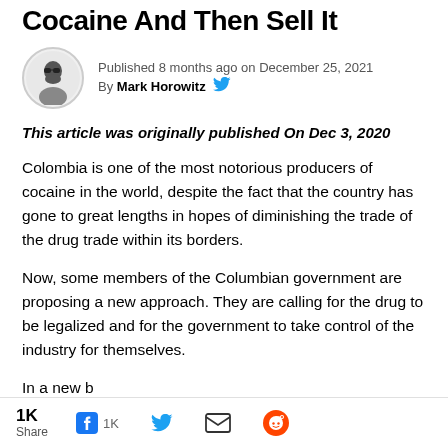Cocaine And Then Sell It
Published 8 months ago on December 25, 2021
By Mark Horowitz
This article was originally published On Dec 3, 2020
Colombia is one of the most notorious producers of cocaine in the world, despite the fact that the country has gone to great lengths in hopes of diminishing the trade of the drug trade within its borders.
Now, some members of the Columbian government are proposing a new approach. They are calling for the drug to be legalized and for the government to take control of the industry for themselves.
In a new b
1K Share  [Facebook] 1K  [Twitter]  [Email]  [Reddit]